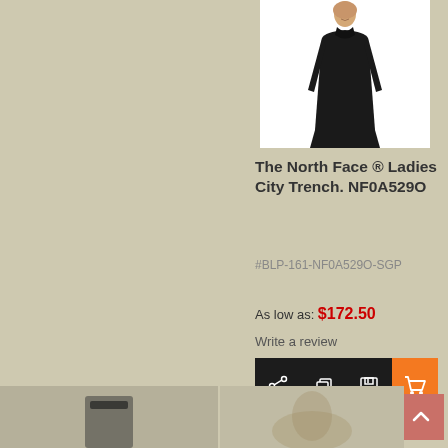[Figure (photo): Product photo of a woman wearing The North Face Ladies City Trench coat in black, on a white background]
The North Face ® Ladies City Trench. NF0A529O
#BLP-161-NF0A529O-SGP
As low as: $172.50
Write a review
[Figure (other): Action buttons bar: share icon, copy icon, save icon (dark background), and cart/add icon (orange background)]
[Figure (other): Back to top button (salmon/pink color) with upward chevron arrow]
[Figure (photo): Bottom left thumbnail - partial product view]
[Figure (photo): Bottom right thumbnail - partial product view]